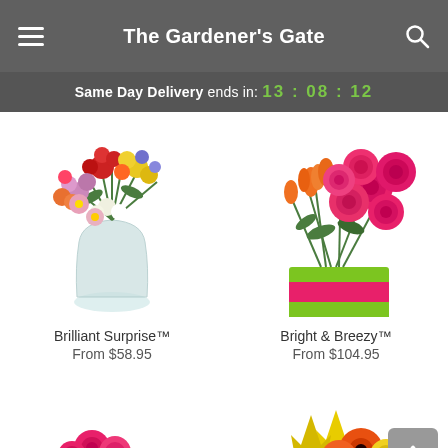The Gardener's Gate
Same Day Delivery ends in: 13 : 08 : 12
[Figure (photo): Brilliant Surprise flower arrangement in a clear glass vase with colorful mixed flowers including red, yellow, pink, purple, and orange blooms]
Brilliant Surprise™
From $58.95
[Figure (photo): Bright & Breezy flower arrangement with pink roses and orange tulips in a green and pink rectangular vase]
Bright & Breezy™
From $104.95
[Figure (photo): Partial view of a floral arrangement with pink roses and white flowers at bottom left]
[Figure (photo): Partial view of a floral arrangement with orange gerberas and yellow lilies at bottom right]